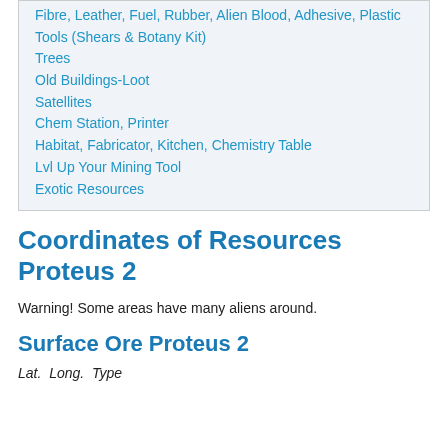Fibre, Leather, Fuel, Rubber, Alien Blood, Adhesive, Plastic
Tools (Shears & Botany Kit)
Trees
Old Buildings-Loot
Satellites
Chem Station, Printer
Habitat, Fabricator, Kitchen, Chemistry Table
Lvl Up Your Mining Tool
Exotic Resources
Coordinates of Resources Proteus 2
Warning! Some areas have many aliens around.
Surface Ore Proteus 2
Lat.  Long.  Type